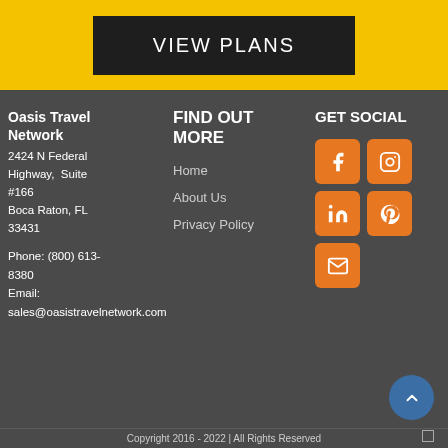VIEW PLANS
Oasis Travel Network
2424 N Federal Highway, Suite #166
Boca Raton, FL 33431

Phone: (800) 613-8380
Email: sales@oasistravelnetwork.com
FIND OUT MORE
Home
About Us
Privacy Policy
GET SOCIAL
[Figure (illustration): Social media icons: Facebook, Instagram, LinkedIn, Pinterest, Email]
Copyright 2016 - 2022 | All Rights Reserved